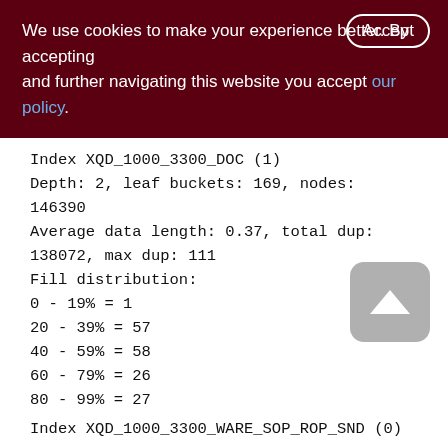We use cookies to make your experience better. By accepting and further navigating this website you accept our policy.
Index XQD_1000_3300_DOC (1)
Depth: 2, leaf buckets: 169, nodes: 146390
Average data length: 0.37, total dup:
138072, max dup: 111
Fill distribution:
0 - 19% = 1
20 - 39% = 57
40 - 59% = 58
60 - 79% = 26
80 - 99% = 27
Index XQD_1000_3300_WARE_SOP_ROP_SND (0)